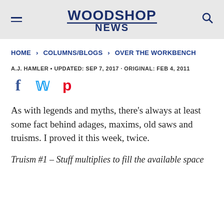WOODSHOP NEWS
HOME > COLUMNS/BLOGS > OVER THE WORKBENCH
A.J. HAMLER • UPDATED: SEP 7, 2017 · ORIGINAL: FEB 4, 2011
[Figure (other): Social sharing icons: Facebook (f), Twitter (bird), Pinterest (P)]
As with legends and myths, there's always at least some fact behind adages, maxims, old saws and truisms. I proved it this week, twice.
Truism #1 – Stuff multiplies to fill the available space